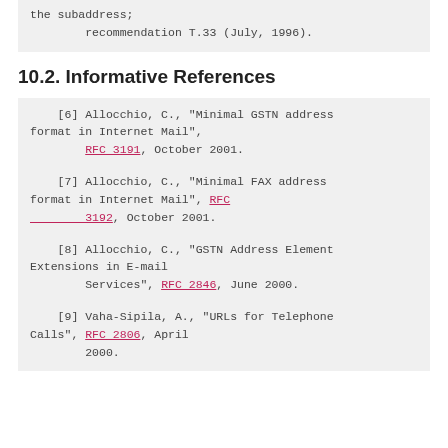the subaddress;
        recommendation T.33 (July, 1996).
10.2. Informative References
[6] Allocchio, C., "Minimal GSTN address format in Internet Mail", RFC 3191, October 2001.
[7] Allocchio, C., "Minimal FAX address format in Internet Mail", RFC 3192, October 2001.
[8] Allocchio, C., "GSTN Address Element Extensions in E-mail Services", RFC 2846, June 2000.
[9] Vaha-Sipila, A., "URLs for Telephone Calls", RFC 2806, April 2000.